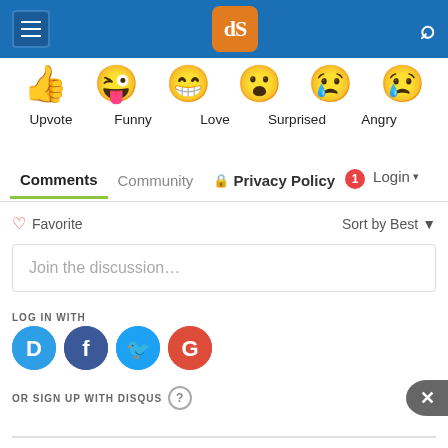Navigation bar with hamburger menu, dPS logo, and search icon
[Figure (illustration): Row of emoji reaction icons: thumbs up (Upvote), tongue out laughing (Funny), heart eyes (Love), surprised face (Surprised), crying/angry face (Angry), and a crying blue face (partially visible)]
Upvote  Funny  Love  Surprised  Angry
Comments  Community  🔒 Privacy Policy  🔴1  Login ▾
♡ Favorite    Sort by Best ▾
Join the discussion…
LOG IN WITH
[Figure (logo): Social login icons: Disqus (D, blue bubble), Facebook (f, dark blue circle), Twitter (bird, light blue circle), Google (G, red circle)]
OR SIGN UP WITH DISQUS ?
[Figure (illustration): Close (X) button, dark circle on right edge]
Bottom input bar line